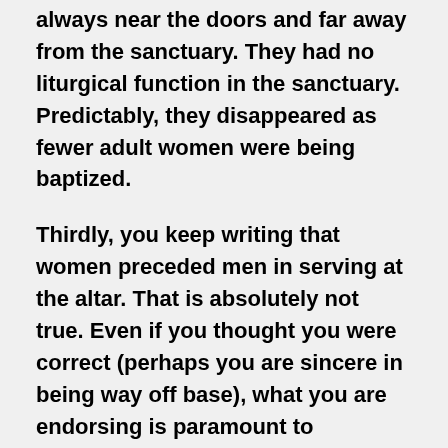church, the baptismal font was always near the doors and far away from the sanctuary. They had no liturgical function in the sanctuary. Predictably, they disappeared as fewer adult women were being baptized.
Thirdly, you keep writing that women preceded men in serving at the altar. That is absolutely not true. Even if you thought you were correct (perhaps you are sincere in being way off base), what you are endorsing is paramount to endorsing liturgical abuses. Simony has been a rampant liturgical